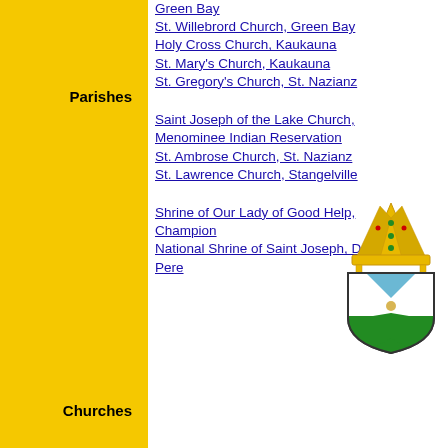Green Bay
St. Willebrord Church, Green Bay
Parishes
Holy Cross Church, Kaukauna
St. Mary's Church, Kaukauna
St. Gregory's Church, St. Nazianz
Churches
Saint Joseph of the Lake Church, Menominee Indian Reservation
Former
St. Ambrose Church, St. Nazianz
St. Lawrence Church, Stangelville
Shrines
Shrine of Our Lady of Good Help, Champion
National Shrine of Saint Joseph, De Pere
[Figure (illustration): Catholic Diocese coat of arms / shield with bishop's mitre on top, featuring a blue and white saltire cross design with green at the bottom]